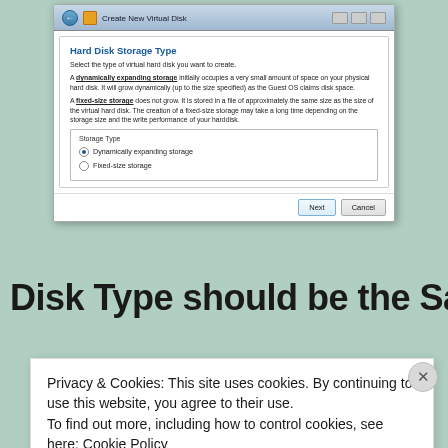[Figure (screenshot): VirtualBox 'Create New Virtual Disk' dialog showing Hard Disk Storage Type selection with Dynamically expanding storage radio button selected and Fixed-size storage as alternate option. Next and Cancel buttons at bottom.]
Disk Type should be the Same
Privacy & Cookies: This site uses cookies. By continuing to use this website, you agree to their use.
To find out more, including how to control cookies, see here: Cookie Policy
Close and accept